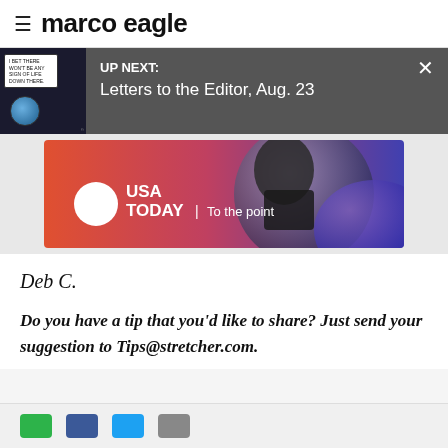marco eagle
UP NEXT: Letters to the Editor, Aug. 23
[Figure (screenshot): USA TODAY | To the point advertisement banner with red-to-blue gradient background, white USA Today circle logo, and tagline 'To the point']
Deb C.
Do you have a tip that you’d like to share? Just send your suggestion to Tips@stretcher.com.